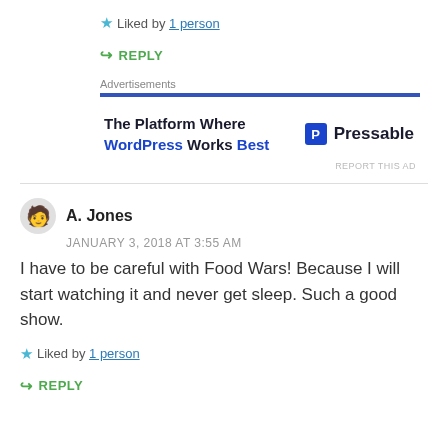Liked by 1 person
REPLY
Advertisements
[Figure (other): Pressable advertisement banner: The Platform Where WordPress Works Best]
A. Jones
JANUARY 3, 2018 AT 3:55 AM
I have to be careful with Food Wars! Because I will start watching it and never get sleep. Such a good show.
Liked by 1 person
REPLY